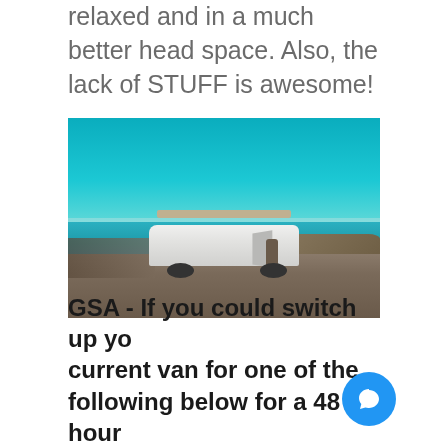relaxed and in a much better head space. Also, the lack of STUFF is awesome!
[Figure (photo): A white camper van parked on a gravel area near a coastal viewpoint with ocean and rocky shoreline in the background, under a clear blue sky.]
GSA - If you could switch up your current van for one of the following below for a 48 hour...